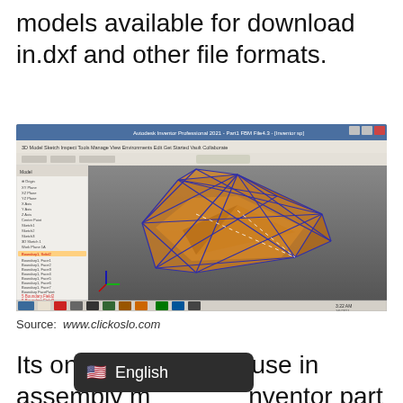models available for download in.dxf and other file formats.
[Figure (screenshot): Screenshot of Autodesk Inventor 3D CAD software showing a complex geometric 3D model (icosahedron/polyhedron) with orange/brown filled faces and dark blue wireframe edges, displayed in a dark grey viewport. A file tree panel is visible on the left side of the application window.]
Source: www.clickoslo.com
Its one of the best to use in assembly m inventor part 3d models for do s in ipt with low poly,